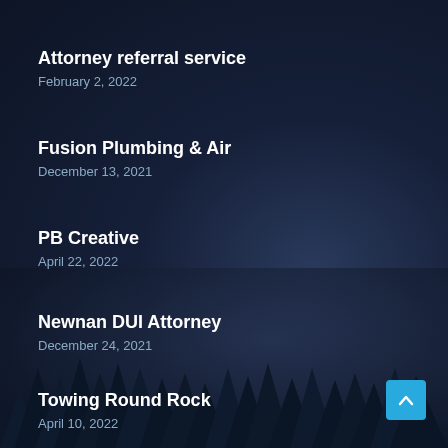Attorney referral service
February 2, 2022
Fusion Plumbing & Air
December 13, 2021
PB Creative
April 22, 2022
Newnan DUI Attorney
December 24, 2021
Towing Round Rock
April 10, 2022
[Figure (illustration): Dark background with aerial or night view of forest and landscape, dark navy blue tones]